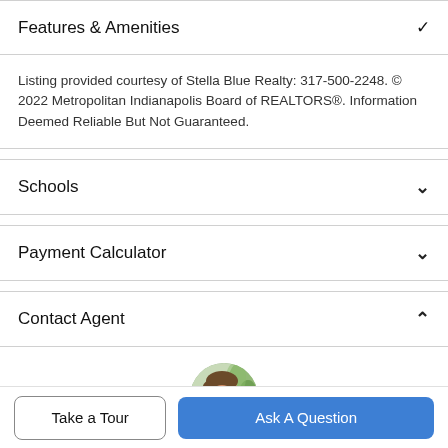Features & Amenities
Listing provided courtesy of Stella Blue Realty: 317-500-2248. © 2022 Metropolitan Indianapolis Board of REALTORS®. Information Deemed Reliable But Not Guaranteed.
Schools
Payment Calculator
Contact Agent
[Figure (photo): Circular profile photo of a real estate agent smiling, with green foliage in the background]
Take a Tour
Ask A Question